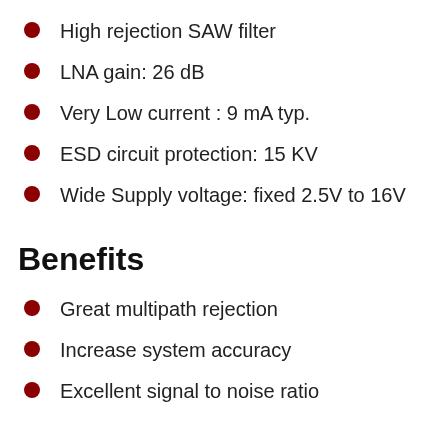High rejection SAW filter
LNA gain: 26 dB
Very Low current : 9 mA typ.
ESD circuit protection: 15 KV
Wide Supply voltage: fixed 2.5V to 16V
Benefits
Great multipath rejection
Increase system accuracy
Excellent signal to noise ratio